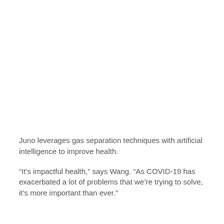Juno leverages gas separation techniques with artificial intelligence to improve health.
“It’s impactful health,” says Wang. “As COVID-19 has exacerbated a lot of problems that we’re trying to solve, it’s more important than ever.”